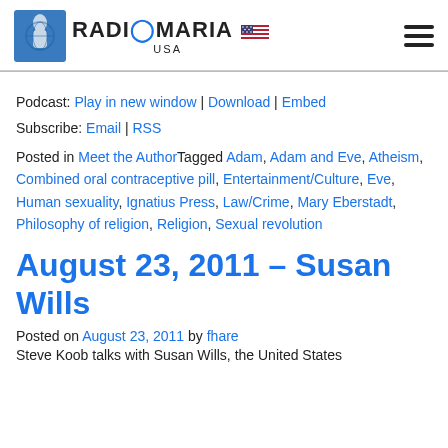[Figure (logo): Radio Maria USA logo with globe icon and US flag]
Podcast: Play in new window | Download | Embed
Subscribe: Email | RSS
Posted in Meet the Author Tagged Adam, Adam and Eve, Atheism, Combined oral contraceptive pill, Entertainment/Culture, Eve, Human sexuality, Ignatius Press, Law/Crime, Mary Eberstadt, Philosophy of religion, Religion, Sexual revolution
August 23, 2011 – Susan Wills
Posted on August 23, 2011 by fhare
Steve Koob talks with Susan Wills, the United States